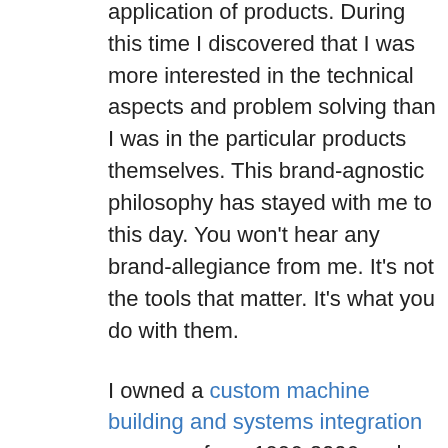distributors was to train customers in the proper application of products. During this time I discovered that I was more interested in the technical aspects and problem solving than I was in the particular products themselves. This brand-agnostic philosophy has stayed with me to this day. You won't hear any brand-allegiance from me. It's not the tools that matter. It's what you do with them.
I owned a custom machine building and systems integration company from 1996-2006 and learned a lot about the industry. I closed the business and worked for a large machine building company in Nashville after that from 2006-2012, learning how the “big boys” do it.